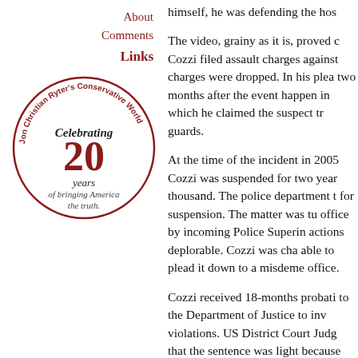About
Comments
Links
[Figure (logo): Jon Christian Ryter's Conservative World circular logo. Text around the circle reads 'Jon Christian Ryter's Conservative World'. Center text: 'Celebrating 20 years of bringing America the truth.']
himself, he was defending the hos
The video, grainy as it is, proved c Cozzi filed assault charges against charges were dropped. In his plea two months after the event happen in which he claimed the suspect tr guards.
At the time of the incident in 2005 Cozzi was suspended for two year thousand. The police department t for suspension. The matter was tu office by incoming Police Superin actions deplorable. Cozzi was cha able to plead it down to a misdeme office.
Cozzi received 18-months probati to the Department of Justice to inv violations. US District Court Judg that the sentence was light because